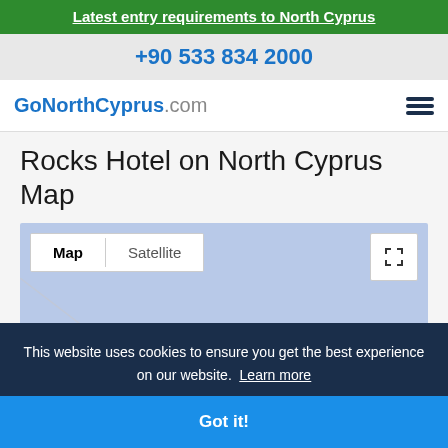Latest entry requirements to North Cyprus
+90 533 834 2000
[Figure (logo): Go North Cyprus .com logo with hamburger menu icon]
Rocks Hotel on North Cyprus Map
[Figure (map): Google Maps embed showing North Cyprus map with Map/Satellite toggle and fullscreen button]
This website uses cookies to ensure you get the best experience on our website. Learn more
Got it!